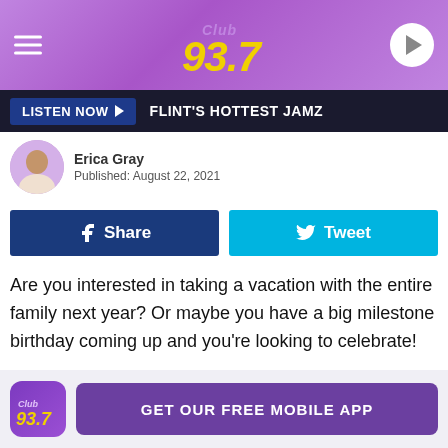[Figure (logo): Club 93.7 radio station header with purple gradient background, hamburger menu icon on left, Club 93.7 logo in center, play button on right]
LISTEN NOW ▶  FLINT'S HOTTEST JAMZ
Erica Gray
Published: August 22, 2021
f Share   Tweet
Are you interested in taking a vacation with the entire family next year? Or maybe you have a big milestone birthday coming up and you're looking to celebrate!
I found the perfect lakefront house for you and your loved ones and it's in South Haven, Michigan.
GET OUR FREE MOBILE APP